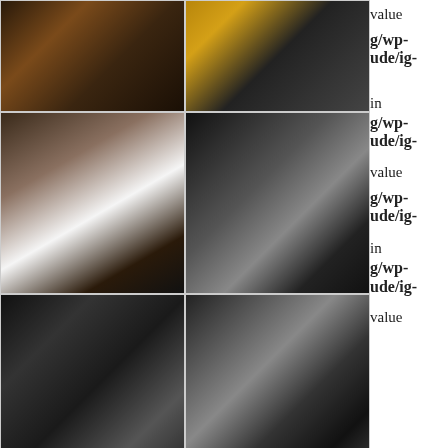[Figure (photo): Music instruments collage: row 1 left - musicians on stage with instruments in warm light; row 1 right - close-up of drum set/cymbal]
value
g/wp-ude/ig-
[Figure (photo): Row 2 left - hands playing piano keys close-up; row 2 right - person holding a flute/clarinet in black and white]
in
g/wp-ude/ig-
value
g/wp-ude/ig-
[Figure (photo): Row 3 left - close-up of clarinet keys mechanism in black and white; row 3 right - close-up of cello strings and body in black and white]
in
g/wp-ude/ig-
[Figure (photo): Row 4 left - close-up of dark instrument (clarinet/sax) in black and white; row 4 right - brass instrument pipes (organ/tuba) in golden tones]
value